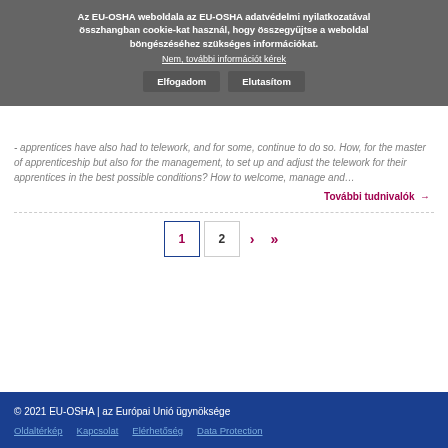Az EU-OSHA weboldala az EU-OSHA adatvédelmi nyilatkozatával összhangban cookie-kat használ, hogy összegyűjtse a weboldal böngészéséhez szükséges információkat.
Nem, további információt kérek
Elfogadom | Elutasítom
- apprentices have also had to telework, and for some, continue to do so. How, for the master of apprenticeship but also for the management, to set up and adjust the telework for their apprentices in the best possible conditions? How to welcome, manage and…
További tudnivalók →
1 2 › »
© 2021 EU-OSHA | az Európai Unió ügynöksége
Oldaltérkép  Kapcsolat  Elérhetőség  Data Protection